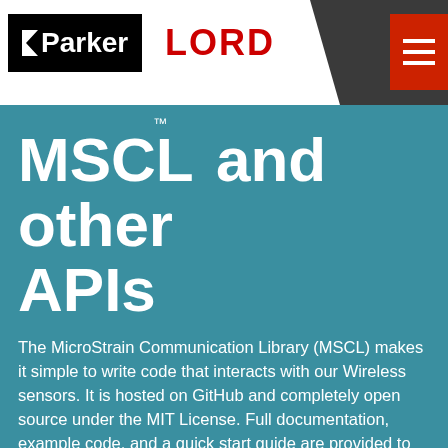[Figure (logo): Parker LORD logo header with Parker logo on black background, LORD in red text, and hamburger menu button in red on dark gray header bar]
MSCL™ and other APIs
The MicroStrain Communication Library (MSCL) makes it simple to write code that interacts with our Wireless sensors. It is hosted on GitHub and completely open source under the MIT License. Full documentation, example code, and a quick start guide are provided to help you get started.
If MSCL doesn't meet your needs, Data Communication Protocols are available in the Protocols section of our GitHub page.
SensorCloud also provides a REST API to allow any